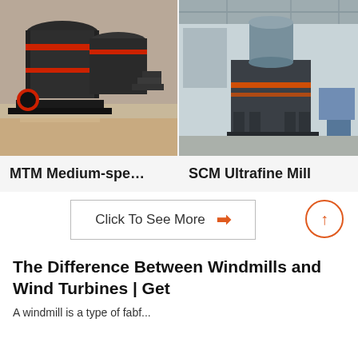[Figure (photo): MTM Medium-speed mill industrial grinding machine, dark grey/black, displayed in a factory setting]
MTM Medium-spe…
[Figure (photo): SCM Ultrafine Mill industrial machine, grey colored, displayed in a large industrial hall]
SCM Ultrafine Mill
Click To See More ⇒
The Difference Between Windmills and Wind Turbines | Get
A windmill is a type of fabf...